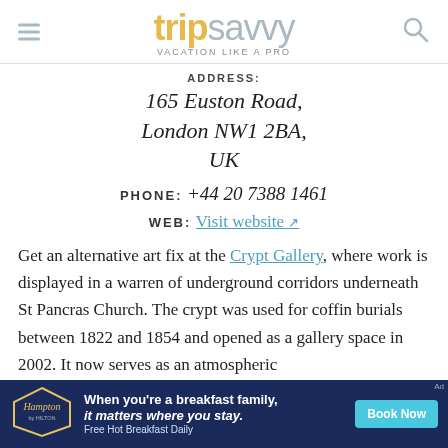tripsavvy VACATION LIKE A PRO
ADDRESS:
165 Euston Road,
London NW1 2BA,
UK
PHONE: +44 20 7388 1461
WEB: Visit website
Get an alternative art fix at the Crypt Gallery, where work is displayed in a warren of underground corridors underneath St Pancras Church. The crypt was used for coffin burials between 1822 and 1854 and opened as a gallery space in 2002. It now serves as an atmospheric
[Figure (other): Hampton by Hilton advertisement banner: dark blue background with Hampton by Hilton logo, text 'When you’re a breakfast family, it matters where you stay. Free Hot Breakfast Daily' and a 'Book Now' button]